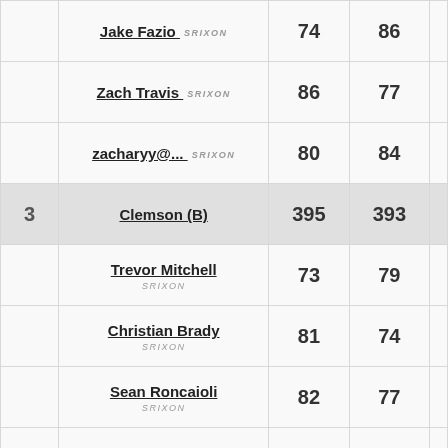| Rank | Player/Team | Round1 | Round2 |  |
| --- | --- | --- | --- | --- |
|  | Jake Fazio  SRIXON | 74 | 86 |  |
|  | Zach Travis  SRIXON | 86 | 77 |  |
|  | zacharyy@...  SRIXON | 80 | 84 |  |
| 3 | Clemson (B) | 395 | 393 |  |
|  | Trevor Mitchell  SRIXON | 73 | 79 |  |
|  | Christian Brady  SRIXON | 81 | 74 |  |
|  | Sean Roncaioli  SRIXON | 82 | 77 |  |
|  | Woods Little | 82 | 79 |  |